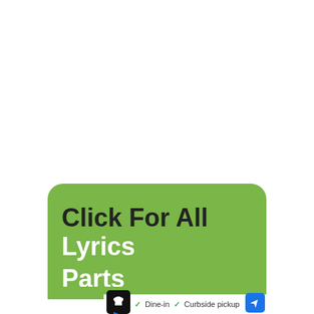[Figure (screenshot): Green rounded banner button with text 'Click For All Lyrics' in bold dark and white font, with partially visible 'Parts' text below, on a white background. Below the banner is an advertisement strip showing a chef hat logo icon, checkmarks for 'Dine-in' and 'Curbside pickup', and a blue direction arrow icon.]